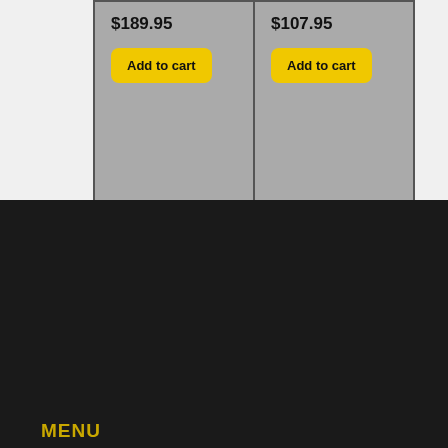$189.95
Add to cart
$107.95
Add to cart
MENU
Home
Gallery
Blog
FAQ
Video
ENGINE GUARDS